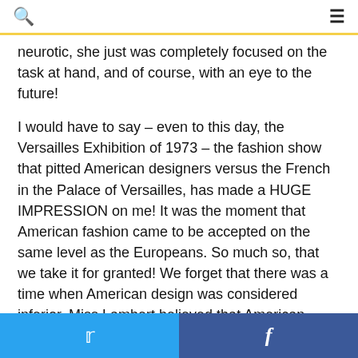🔍 ☰
neurotic, she just was completely focused on the task at hand, and of course, with an eye to the future!
I would have to say – even to this day, the Versailles Exhibition of 1973 – the fashion show that pitted American designers versus the French in the Palace of Versailles, has made a HUGE IMPRESSION on me! It was the moment that American fashion came to be accepted on the same level as the Europeans. So much so, that we take it for granted! We forget that there was a time when American design was considered inferior. Miss Lambert believed that American designers deserved credit for their work and it took her decades to prove she was right — when no one else dared believe it!
You first became acquainted with Eleanor Lambert
Twitter | Facebook